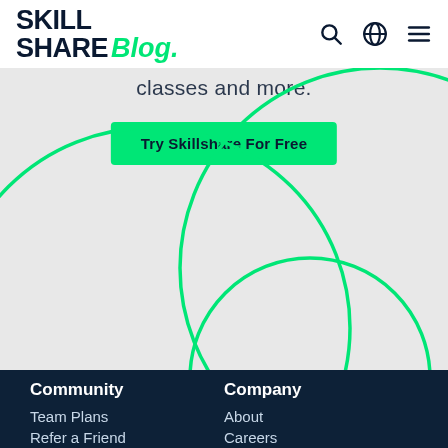Skillshare Blog.
classes and more.
Try Skillshare For Free
[Figure (illustration): Decorative overlapping green circle outlines on a light gray background]
Community | Team Plans | Refer a Friend | Company | About | Careers